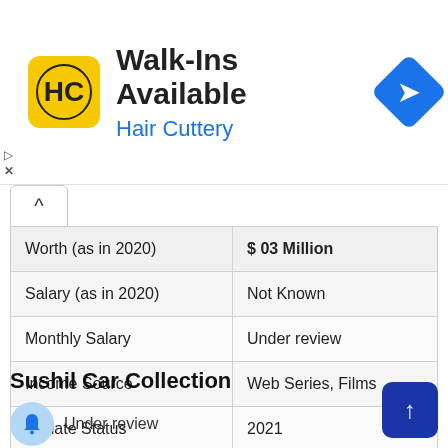[Figure (screenshot): Hair Cuttery ad banner with logo, Walk-Ins Available title, and navigation icon]
| Worth (as in 2020) | $ 03 Million |
| --- | --- |
| Salary (as in 2020) | Not Known |
| Monthly Salary | Under review |
| Income Source | Web Series, Films |
| Update Status | 2021 |
Sushil Car Collection
Under review